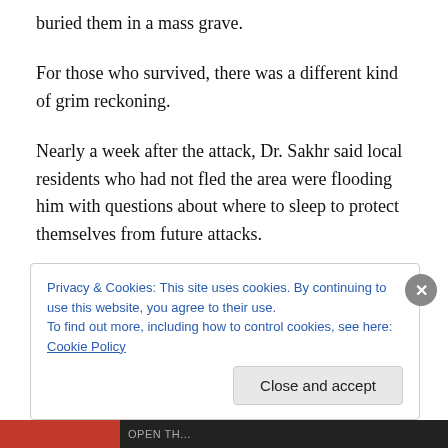buried them in a mass grave.
For those who survived, there was a different kind of grim reckoning.
Nearly a week after the attack, Dr. Sakhr said local residents who had not fled the area were flooding him with questions about where to sleep to protect themselves from future attacks.
Others were still searching for lost relatives, including children who had been taken in by strangers after their
Privacy & Cookies: This site uses cookies. By continuing to use this website, you agree to their use.
To find out more, including how to control cookies, see here: Cookie Policy
Close and accept